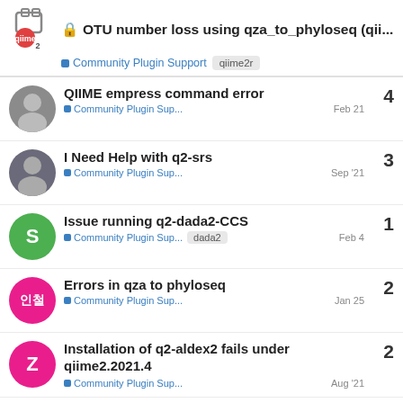OTU number loss using qza_to_phyloseq (qii... | Community Plugin Support | qiime2r
QIIME empress command error | Community Plugin Sup... | Feb 21 | replies: 4
I Need Help with q2-srs | Community Plugin Sup... | Sep '21 | replies: 3
Issue running q2-dada2-CCS | Community Plugin Sup... | dada2 | Feb 4 | replies: 1
Errors in qza to phyloseq | Community Plugin Sup... | Jan 25 | replies: 2
Installation of q2-aldex2 fails under qiime2.2021.4 | Community Plugin Sup... | Aug '21 | replies: 2
Want to read more? Browse other topics in